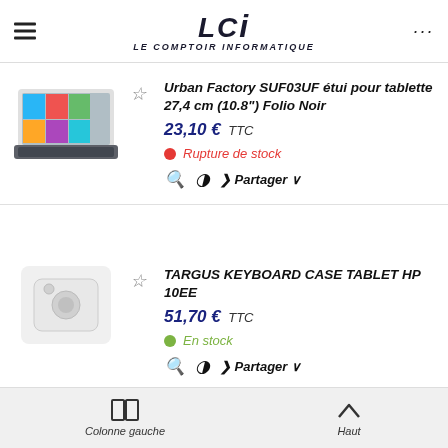LCI - LE COMPTOIR INFORMATIQUE
Urban Factory SUF03UF étui pour tablette 27,4 cm (10.8") Folio Noir — 23,10 € TTC — Rupture de stock
TARGUS KEYBOARD CASE TABLET HP 10EE — 51,70 € TTC — En stock
Microsoft Surface Dock station
Colonne gauche   Haut